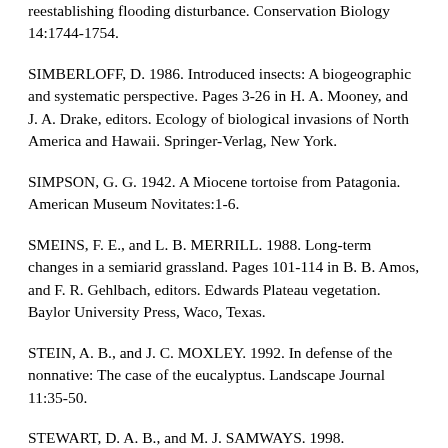reestablishing flooding disturbance. Conservation Biology 14:1744-1754.
SIMBERLOFF, D. 1986. Introduced insects: A biogeographic and systematic perspective. Pages 3-26 in H. A. Mooney, and J. A. Drake, editors. Ecology of biological invasions of North America and Hawaii. Springer-Verlag, New York.
SIMPSON, G. G. 1942. A Miocene tortoise from Patagonia. American Museum Novitates:1-6.
SMEINS, F. E., and L. B. MERRILL. 1988. Long-term changes in a semiarid grassland. Pages 101-114 in B. B. Amos, and F. R. Gehlbach, editors. Edwards Plateau vegetation. Baylor University Press, Waco, Texas.
STEIN, A. B., and J. C. MOXLEY. 1992. In defense of the nonnative: The case of the eucalyptus. Landscape Journal 11:35-50.
STEWART, D. A. B., and M. J. SAMWAYS. 1998.